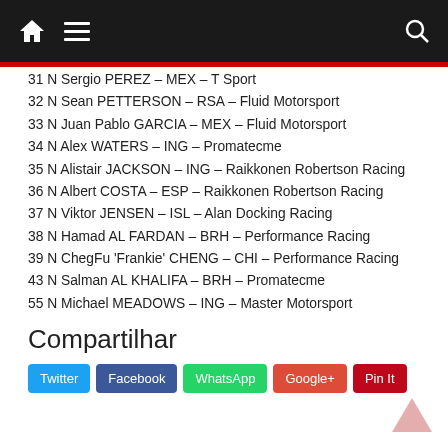Navigation bar with home, menu, and search icons
31 N Sergio PEREZ – MEX – T Sport
32 N Sean PETTERSON – RSA – Fluid Motorsport
33 N Juan Pablo GARCIA – MEX – Fluid Motorsport
34 N Alex WATERS – ING – Promatecme
35 N Alistair JACKSON – ING – Raikkonen Robertson Racing
36 N Albert COSTA – ESP – Raikkonen Robertson Racing
37 N Viktor JENSEN – ISL – Alan Docking Racing
38 N Hamad AL FARDAN – BRH – Performance Racing
39 N ChegFu 'Frankie' CHENG – CHI – Performance Racing
43 N Salman AL KHALIFA – BRH – Promatecme
55 N Michael MEADOWS – ING – Master Motorsport
Compartilhar
Twitter Facebook WhatsApp Google+ Pin It